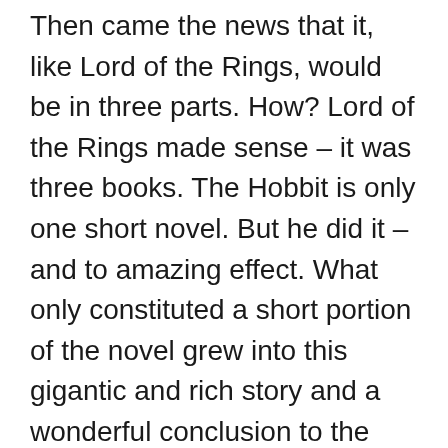Then came the news that it, like Lord of the Rings, would be in three parts. How? Lord of the Rings made sense – it was three books. The Hobbit is only one short novel. But he did it – and to amazing effect. What only constituted a short portion of the novel grew into this gigantic and rich story and a wonderful conclusion to the adventures of Bilbo Baggins. A
Exodus: Gods and Kings
Rated PG-13 for violence including battle sequences and intense images